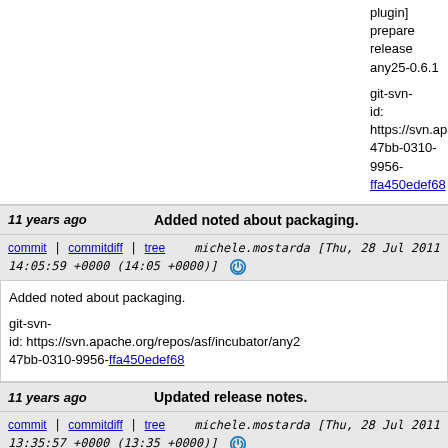plugin] prepare release any25-0.6.1

git-svn-id: https://svn.apache.org/repos/asf/incubator/any2 47bb-0310-9956-ffa450edef68
11 years ago   Added noted about packaging.
commit | commitdiff | tree   michele.mostarda [Thu, 28 Jul 2011 14:05:59 +0000 (14:05 +0000)]
Added noted about packaging.

git-svn-id: https://svn.apache.org/repos/asf/incubator/any2 47bb-0310-9956-ffa450edef68
11 years ago   Updated release notes.
commit | commitdiff | tree   michele.mostarda [Thu, 28 Jul 2011 13:35:57 +0000 (13:35 +0000)]
Updated release notes.

git-svn-id: https://svn.apache.org/repos/asf/incubator/any2 47bb-0310-9956-ffa450edef68